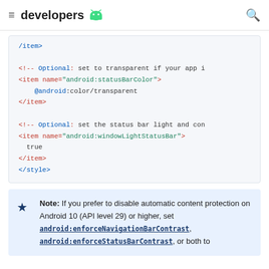developers
/item>

<!-- Optional: set to transparent if your app i
<item name="android:statusBarColor">
    @android:color/transparent
</item>

<!-- Optional: set the status bar light and con
<item name="android:windowLightStatusBar">
  true
</item>
</style>
Note: If you prefer to disable automatic content protection on Android 10 (API level 29) or higher, set android:enforceNavigationBarContrast, android:enforceStatusBarContrast, or both to